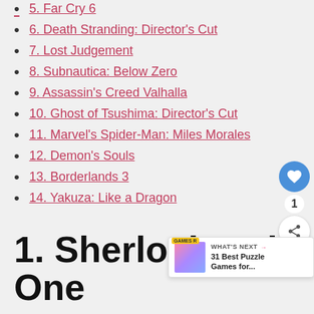5. Far Cry 6
6. Death Stranding: Director's Cut
7. Lost Judgement
8. Subnautica: Below Zero
9. Assassin's Creed Valhalla
10. Ghost of Tsushima: Director's Cut
11. Marvel's Spider-Man: Miles Morales
12. Demon's Souls
13. Borderlands 3
14. Yakuza: Like a Dragon
1. Sherlock Holmes Chapter One